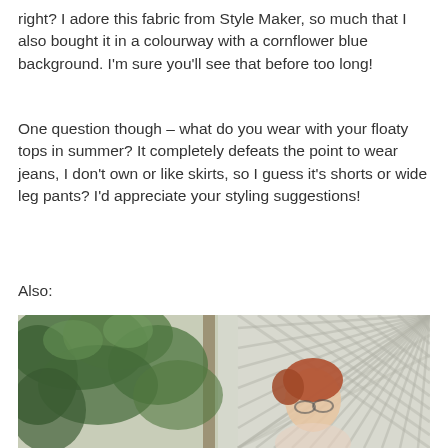right? I adore this fabric from Style Maker, so much that I also bought it in a colourway with a cornflower blue background. I'm sure you'll see that before too long!
One question though – what do you wear with your floaty tops in summer? It completely defeats the point to wear jeans, I don't own or like skirts, so I guess it's shorts or wide leg pants? I'd appreciate your styling suggestions!
Also:
[Figure (photo): Outdoor photo of a woman with short red hair and glasses, smiling and looking upward, standing near a tree with green leaves and a white diamond-pattern lattice fence in the background.]